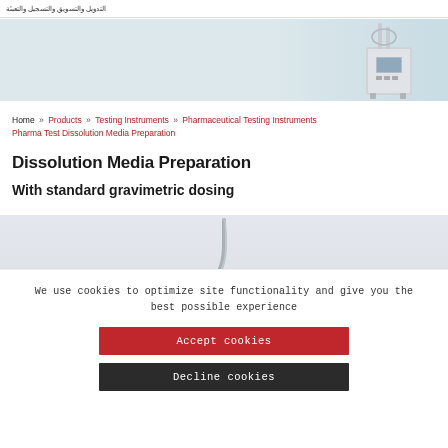التدويل والتسويق والتسجيل والتعبئة
[Figure (photo): Hero banner with light blue/grey gradient background and a laboratory dissolution media preparation instrument on the right side]
Home » Products » Testing Instruments » Pharmaceutical Testing Instruments » Pharma Test Dissolution Media Preparation
Dissolution Media Preparation
With standard gravimetric dosing
[Figure (photo): Grey background product image area showing a metal hook/stirrer component of dissolution apparatus]
We use cookies to optimize site functionality and give you the best possible experience
Accept cookies
Decline cookies